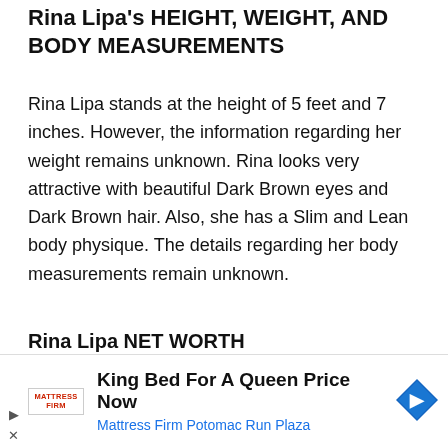Rina Lipa's HEIGHT, WEIGHT, AND BODY MEASUREMENTS
Rina Lipa stands at the height of 5 feet and 7 inches. However, the information regarding her weight remains unknown. Rina looks very attractive with beautiful Dark Brown eyes and Dark Brown hair. Also, she has a Slim and Lean body physique. The details regarding her body measurements remain unknown.
Rina Lipa NET WORTH
Dancer: She has not shared any information regarding her income or earnings until now. However, according to www.ziprecruiter.com the average income of a dancer is
[Figure (infographic): Advertisement banner for Mattress Firm Potomac Run Plaza: 'King Bed For A Queen Price Now' with Mattress Firm logo, navigation arrow icon, and close/play controls.]